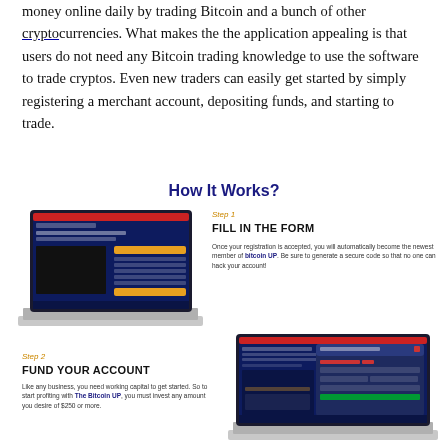money online daily by trading Bitcoin and a bunch of other cryptocurrencies. What makes the the application appealing is that users do not need any Bitcoin trading knowledge to use the software to trade cryptos. Even new traders can easily get started by simply registering a merchant account, depositing funds, and starting to trade.
How It Works?
[Figure (screenshot): Screenshot of Bitcoin UP website displayed on a laptop — Step 1 illustration showing a dark blue landing page with 'Fast & Effective Way To Get Rich' heading and a form.]
Step 1
FILL IN THE FORM
Once your registration is accepted, you will automatically become the newest member of bitcoin UP. Be sure to generate a secure code so that no one can hack your account!
Step 2
FUND YOUR ACCOUNT
Like any business, you need working capital to get started. So to start profiting with The Bitcoin UP, you must invest any amount you desire of $250 or more.
[Figure (screenshot): Screenshot of Bitcoin UP website on a laptop — Step 2 illustration showing the funding/payment form on a dark background.]